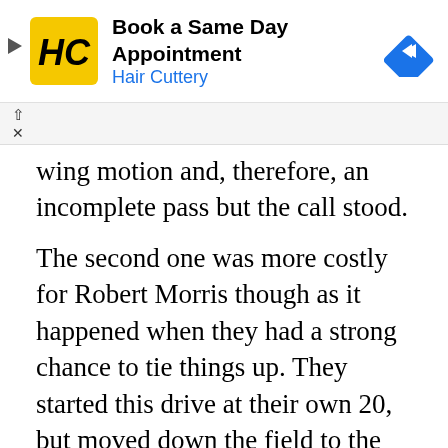[Figure (other): Hair Cuttery advertisement banner with logo, text 'Book a Same Day Appointment / Hair Cuttery', and a blue navigation arrow icon]
wing motion and, therefore, an incomplete pass but the call stood.
The second one was more costly for Robert Morris though as it happened when they had a strong chance to tie things up. They started this drive at their own 20, but moved down the field to the Kennesaw State five-yard line on just seven plays. Martin attempted to sneak into the end zone after a passing play fell apart, but had the ball smacked out of his hand again by Reddick. After both turnovers, Kennesaw State scored a touchdown. This set the tone for the